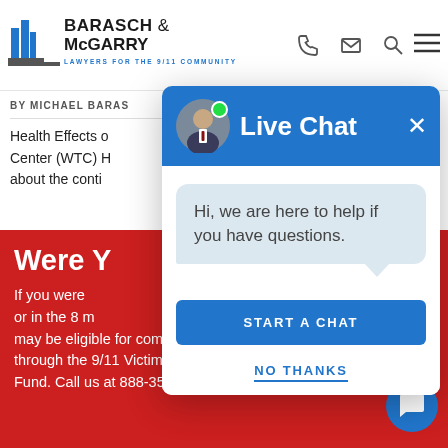BARASCH & McGARRY — LAWYERS FOR THE 9/11 COMMUNITY
BY MICHAEL BARAS...
Health Effects o... Center (WTC) H... about the conti...
Were Y...
If you were... or in the 8 m... may be eligible for compensation through the 9/11 Victim Compensation Fund. Call us at 888-351-9421 or contact
[Figure (screenshot): Live Chat modal overlay on law firm website. Header is blue with a photo of a man, a green online dot, the title 'Live Chat', and an X close button. Body contains a speech bubble saying 'Hi, we are here to help if you have questions.' Below are a blue 'START A CHAT' button and a 'NO THANKS' text link.]